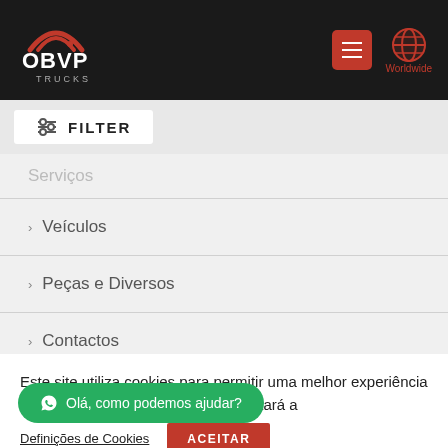[Figure (logo): OBVP Trucks logo — white text on dark background with red arc graphic above]
OBVP Trucks — navigation header with hamburger menu and Worldwide globe icon
FILTER
Serviços
Veículos
Peças e Diversos
Contactos
Este site utiliza cookies para permitir uma melhor experiência por parte do utilizador. Ao aceitar estará a
Definições de Cookies   ACEITAR
Olá, como podemos ajudar?